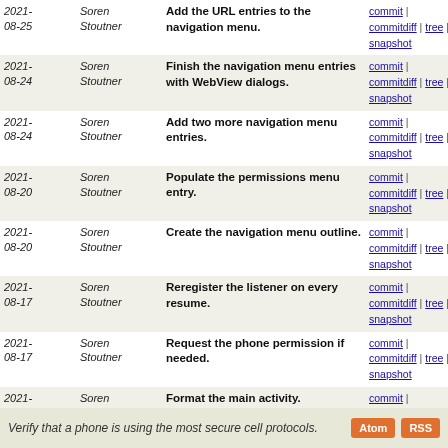| Date | Author | Commit Message | Links |
| --- | --- | --- | --- |
| 2021-08-25 | Soren Stoutner | Add the URL entries to the navigation menu. | commit | commitdiff | tree | snapshot |
| 2021-08-24 | Soren Stoutner | Finish the navigation menu entries with WebView dialogs. | commit | commitdiff | tree | snapshot |
| 2021-08-24 | Soren Stoutner | Add two more navigation menu entries. | commit | commitdiff | tree | snapshot |
| 2021-08-20 | Soren Stoutner | Populate the permissions menu entry. | commit | commitdiff | tree | snapshot |
| 2021-08-20 | Soren Stoutner | Create the navigation menu outline. | commit | commitdiff | tree | snapshot |
| 2021-08-17 | Soren Stoutner | Reregister the listener on every resume. | commit | commitdiff | tree | snapshot |
| 2021-08-17 | Soren Stoutner | Request the phone permission if needed. | commit | commitdiff | tree | snapshot |
| 2021-08-14 | Soren Stoutner | Format the main activity. | commit | commitdiff | tree | snapshot |
| 2021-08-13 | Soren Stoutner | Create the Day/Night theme. | commit | commitdiff | tree | snapshot |
| 2021-08-13 | Soren Stoutner | Add the app icon. | commit | commitdiff | tree | snapshot |
| 2021-08-13 | Soren Stoutner | Initial commit. | commit | commitdiff | tree | snapshot |
Verify that a phone is using the most secure cell protocols.